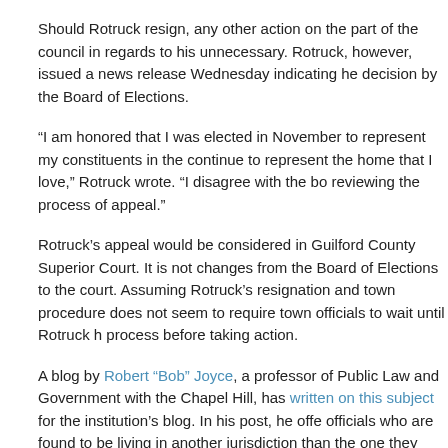Should Rotruck resign, any other action on the part of the council in regards to his unnecessary. Rotruck, however, issued a news release Wednesday indicating he decision by the Board of Elections.
“I am honored that I was elected in November to represent my constituents in the continue to represent the home that I love,” Rotruck wrote. “I disagree with the bo reviewing the process of appeal.”
Rotruck’s appeal would be considered in Guilford County Superior Court. It is not changes from the Board of Elections to the court. Assuming Rotruck’s resignation and town procedure does not seem to require town officials to wait until Rotruck h process before taking action.
A blog by Robert “Bob” Joyce, a professor of Public Law and Government with the Chapel Hill, has written on this subject for the institution’s blog. In his post, he offe officials who are found to be living in another jurisdiction than the one they were e
“Now, if the decision is against you, what happens?  You are ineligible to continue resign,” Joyce wrote. “But what if you don’t?  Again, there is no state law setting o but your fellow commissioners may act nonetheless.”
Joyce explained that a member of the Town Council — Mayor Pro Tem Dena Barm